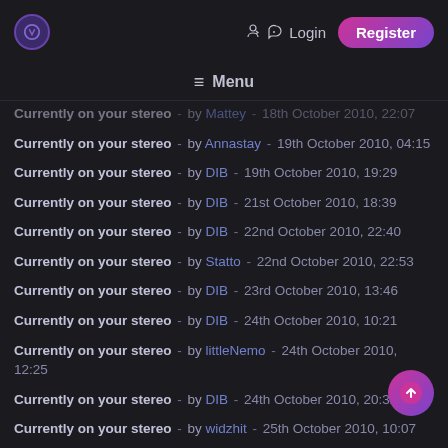Logo | Login | Register
≡ Menu
Currently on your stereo - by Mattey - 18th October 2010, 22:07
Currently on your stereo - by Annastay - 19th October 2010, 04:15
Currently on your stereo - by DIB - 19th October 2010, 19:29
Currently on your stereo - by DIB - 21st October 2010, 18:39
Currently on your stereo - by DIB - 22nd October 2010, 22:40
Currently on your stereo - by Statto - 22nd October 2010, 22:53
Currently on your stereo - by DIB - 23rd October 2010, 13:46
Currently on your stereo - by DIB - 24th October 2010, 10:21
Currently on your stereo - by littleNemo - 24th October 2010, 12:25
Currently on your stereo - by DIB - 24th October 2010, 20:32
Currently on your stereo - by widzhit - 25th October 2010, 10:07
Currently on your stereo - by littleNemo - 25th October 2010, 10:49
Currently on your stereo - by Annastay - 26th October 2010, 05:46
Currently on your stereo - by widzhit - 29th October 2010, 14:21
Currently on your stereo - by DIB - 31st October 2010, 14:46
Currently on your stereo - by esb - 31st October 2010, 14:58
Currently on your stereo - by Annastay - 1st November 2010, 04:54